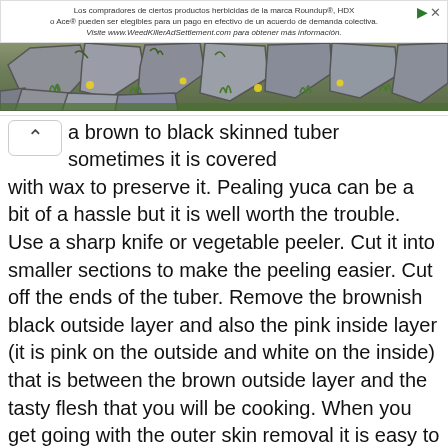[Figure (other): Advertisement banner with Spanish text about Roundup and Ace herbicide products and a settlement, with a photo of stone pavers with green plants and yellow flowers]
a brown to black skinned tuber sometimes it is covered with wax to preserve it. Pealing yuca can be a bit of a hassle but it is well worth the trouble. Use a sharp knife or vegetable peeler. Cut it into smaller sections to make the peeling easier. Cut off the ends of the tuber. Remove the brownish black outside layer and also the pink inside layer (it is pink on the outside and white on the inside) that is between the brown outside layer and the tasty flesh that you will be cooking. When you get going with the outer skin removal it is easy to get a long slice in the skin and try to remove the outside in one long piece. After peeling place the pieces in water to preserve their color.
*For more information and the history of yuca go to the Grown in Dominican Republic page about Yuca/ Cassava